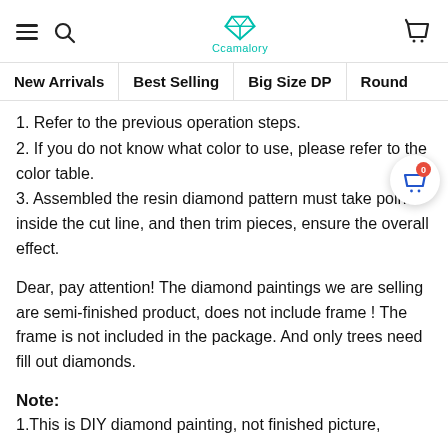Ccamalory — navigation header with hamburger menu, search, logo, and cart icon
New Arrivals | Best Selling | Big Size DP | Round
1. Refer to the previous operation steps.
2. If you do not know what color to use, please refer to the color table.
3. Assembled the resin diamond pattern must take point inside the cut line, and then trim pieces, ensure the overall effect.
Dear, pay attention! The diamond paintings we are selling are semi-finished product, does not include frame ! The frame is not included in the package. And only trees need fill out diamonds.
Note:
1.This is DIY diamond painting, not finished picture,